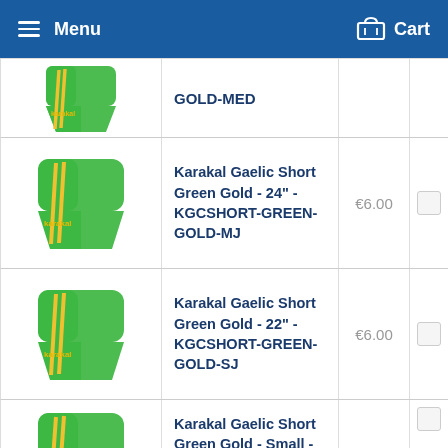Menu   Cart
GOLD-MED
Karakal Gaelic Short Green Gold - 24" - KGCSHORT-GREEN-GOLD-MJ   €6.00
Karakal Gaelic Short Green Gold - 22" - KGCSHORT-GREEN-GOLD-SJ   €6.00
Karakal Gaelic Short Green Gold - Small -   €6.00